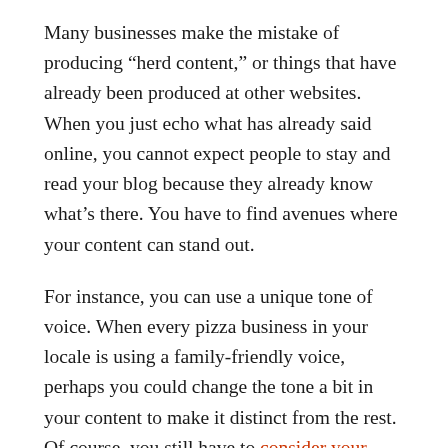Many businesses make the mistake of producing “herd content,” or things that have already been produced at other websites. When you just echo what has already said online, you cannot expect people to stay and read your blog because they already know what’s there. You have to find avenues where your content can stand out.
For instance, you can use a unique tone of voice. When every pizza business in your locale is using a family-friendly voice, perhaps you could change the tone a bit in your content to make it distinct from the rest. Of course, you still have to consider your brand image.
Another way you can stand out is a different slant on a cliché topic. For instance, when everybody is talking about how unhealthy pizza is, take the unusual route and make the case for how it can be healthy. The bottom line is to find avenues